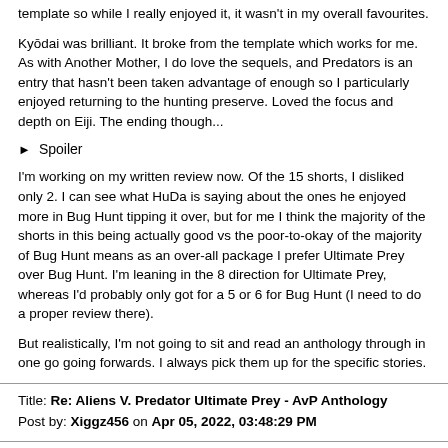template so while I really enjoyed it, it wasn't in my overall favourites.
Kyōdai was brilliant. It broke from the template which works for me. As with Another Mother, I do love the sequels, and Predators is an entry that hasn't been taken advantage of enough so I particularly enjoyed returning to the hunting preserve. Loved the focus and depth on Eiji. The ending though...
▶  Spoiler
I'm working on my written review now. Of the 15 shorts, I disliked only 2. I can see what HuDa is saying about the ones he enjoyed more in Bug Hunt tipping it over, but for me I think the majority of the shorts in this being actually good vs the poor-to-okay of the majority of Bug Hunt means as an over-all package I prefer Ultimate Prey over Bug Hunt. I'm leaning in the 8 direction for Ultimate Prey, whereas I'd probably only got for a 5 or 6 for Bug Hunt (I need to do a proper review there).
But realistically, I'm not going to sit and read an anthology through in one go going forwards. I always pick them up for the specific stories.
Title: Re: Aliens V. Predator Ultimate Prey - AvP Anthology
Post by: Xiggz456 on Apr 05, 2022, 03:48:29 PM
Quote from: Corporal Hicks on Apr 05, 2022, 11:20:36 AM
So I finished the book last night, with Scylla and Charybdis,